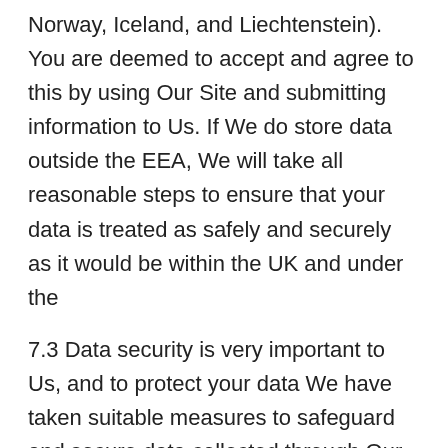Norway, Iceland, and Liechtenstein). You are deemed to accept and agree to this by using Our Site and submitting information to Us. If We do store data outside the EEA, We will take all reasonable steps to ensure that your data is treated as safely and securely as it would be within the UK and under the
7.3 Data security is very important to Us, and to protect your data We have taken suitable measures to safeguard and secure data collected through Our Site.
8. Do We Share Your Data?
8.1 We may share your data with other